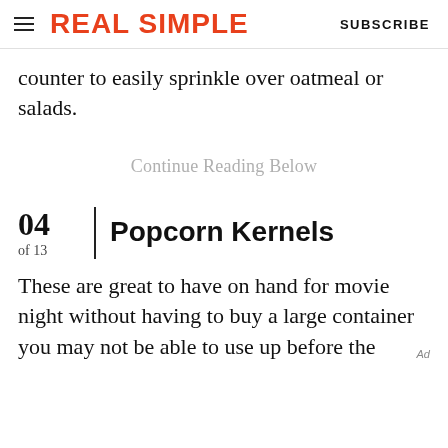REAL SIMPLE | SUBSCRIBE
counter to easily sprinkle over oatmeal or salads.
Continue Reading Below
04 of 13  Popcorn Kernels
These are great to have on hand for movie night without having to buy a large container you may not be able to use up before the